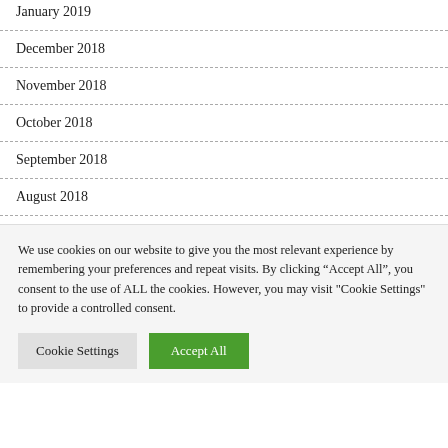January 2019
December 2018
November 2018
October 2018
September 2018
August 2018
We use cookies on our website to give you the most relevant experience by remembering your preferences and repeat visits. By clicking “Accept All”, you consent to the use of ALL the cookies. However, you may visit "Cookie Settings" to provide a controlled consent.
Cookie Settings | Accept All